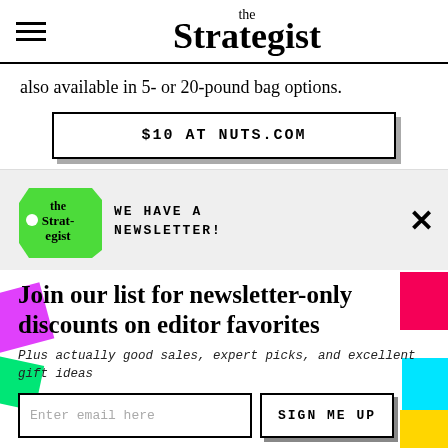the Strategist
also available in 5- or 20-pound bag options.
$10 AT NUTS.COM
WE HAVE A NEWSLETTER!
Join our list for newsletter-only discounts on editor favorites
Plus actually good sales, expert picks, and excellent gift ideas
Enter email here
SIGN ME UP
NO THANKS